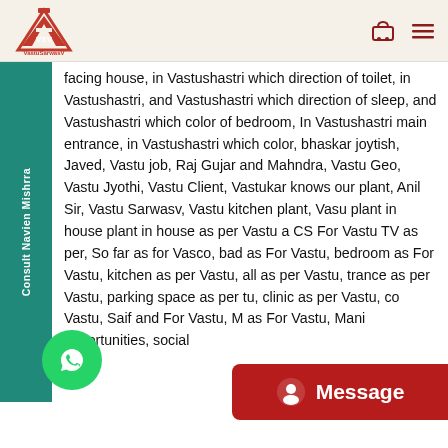VastuSarwasV
facing house, in Vastushastri which direction of toilet, in Vastushastri, and Vastushastri which direction of sleep, and Vastushastri which color of bedroom, In Vastushastri main entrance, in Vastushastri which color, bhaskar joytish, Javed, Vastu job, Raj Gujar and Mahndra, Vastu Geo, Vastu Jyothi, Vastu Client, Vastukar knows our plant, Anil Sir, Vastu Sarwasv, Vastu kitchen plant, Vasu plant in house plant in house as per Vastu a CS For Vastu TV as per, So far as for Vasco, bad as For Vastu, bedroom as For Vastu, kitchen as per Vastu, all as per Vastu, trance as per Vastu, parking space as per tu, clinic as per Vastu, co Vastu, Saif and For Vastu, M as For Vastu, Mani opportunities, social